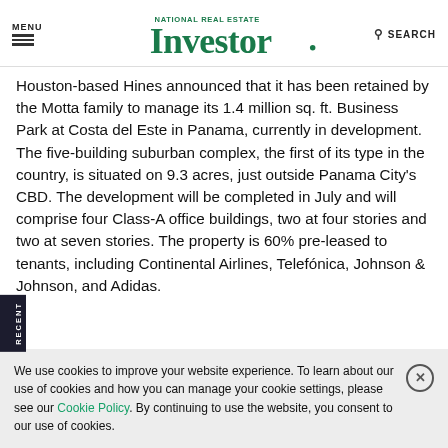MENU | National Real Estate Investor | SEARCH
Houston-based Hines announced that it has been retained by the Motta family to manage its 1.4 million sq. ft. Business Park at Costa del Este in Panama, currently in development. The five-building suburban complex, the first of its type in the country, is situated on 9.3 acres, just outside Panama City's CBD. The development will be completed in July and will comprise four Class-A office buildings, two at four stories and two at seven stories. The property is 60% pre-leased to tenants, including Continental Airlines, Telefónica, Johnson & Johnson, and Adidas.
We use cookies to improve your website experience. To learn about our use of cookies and how you can manage your cookie settings, please see our Cookie Policy. By continuing to use the website, you consent to our use of cookies.